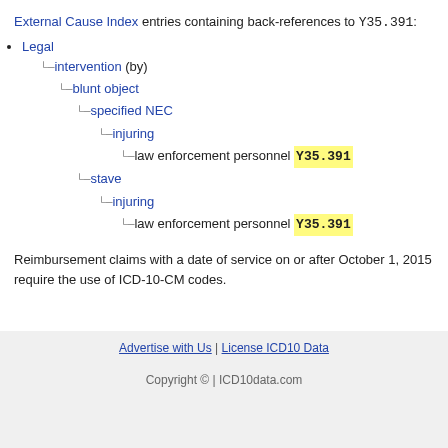External Cause Index entries containing back-references to Y35.391:
Legal
intervention (by)
blunt object
specified NEC
injuring
law enforcement personnel Y35.391
stave
injuring
law enforcement personnel Y35.391
Reimbursement claims with a date of service on or after October 1, 2015 require the use of ICD-10-CM codes.
Advertise with Us | License ICD10 Data
Copyright © | ICD10data.com